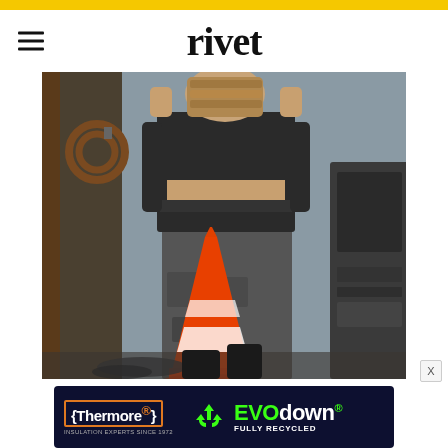rivet
[Figure (photo): Fashion editorial photo of a person leaning against a grey concrete wall wearing dark cargo pants, a short dark jacket, and a wrapped headscarf covering their face. An orange traffic cone is in the foreground left, a hose hangs on the wall left, and a dark vehicle is visible on the right.]
[Figure (other): Thermore EVO down advertisement banner. Thermore logo with orange border on dark navy background, recycling icon in green, EVO down text in green and white, FULLY RECYCLED text in white. INSULATION EXPERTS SINCE 1972 subtext.]